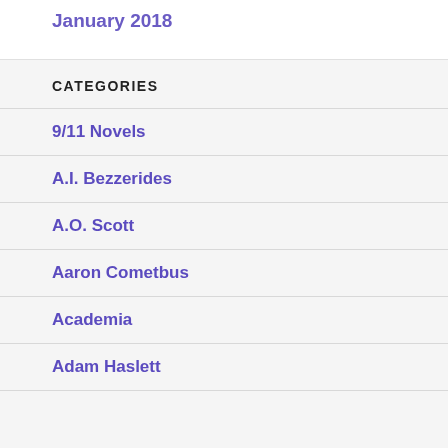January 2018
CATEGORIES
9/11 Novels
A.I. Bezzerides
A.O. Scott
Aaron Cometbus
Academia
Adam Haslett